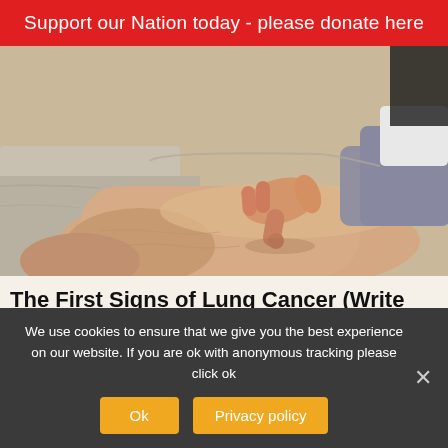Support our Nation today - please donate here
[Figure (photo): A medical professional's hand pressing on a patient's lower leg/ankle area, demonstrating pitting edema examination. The patient's leg rests on a light-colored surface.]
The First Signs of Lung Cancer (Write These Down)
We use cookies to ensure that we give you the best experience on our website. If you are ok with anonymous tracking please click ok
Ok
Privacy policy